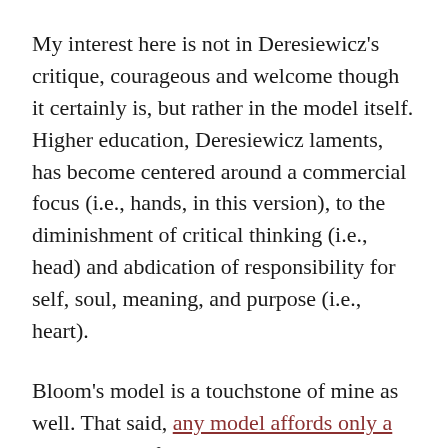My interest here is not in Deresiewicz's critique, courageous and welcome though it certainly is, but rather in the model itself. Higher education, Deresiewicz laments, has become centered around a commercial focus (i.e., hands, in this version), to the diminishment of critical thinking (i.e., head) and abdication of responsibility for self, soul, meaning, and purpose (i.e., heart).
Bloom's model is a touchstone of mine as well. That said, any model affords only a partial view of a complex situation. So as intuitive, informative, and salient as a Bloom-based approach may be, it's worth looking around for complementary ones. In other words: What models might inform how one understands the successes and failures, challenges and opportunities of contemporary higher education?